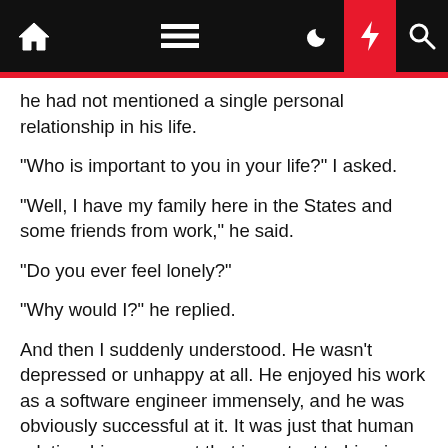[Navigation bar with home, menu, moon, bolt, search icons]
he had not mentioned a single personal relationship in his life.
“Who is important to you in your life?” I asked.
“Well, I have my family here in the States and some friends from work,” he said.
“Do you ever feel lonely?”
“Why would I?” he replied.
And then I suddenly understood. He wasn’t depressed or unhappy at all. He enjoyed his work as a software engineer immensely, and he was obviously successful at it. It was just that human relationships were not that important to him; in fact, he found them stressful.